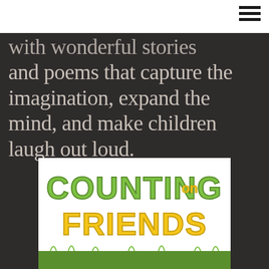with wonderful stories and poems that capture the imagination, expand the mind, and make children laugh out loud.
[Figure (illustration): Book cover for 'Counting on Friends' with green and yellow bubbly lettering on a white background]